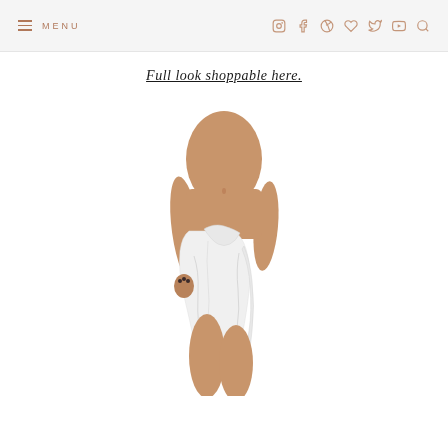≡ MENU  [social icons: instagram, facebook, pinterest, heart/wishlist, twitter, youtube, search]
Full look shoppable here.
[Figure (photo): A woman wearing a white sarong wrap skirt tied at the waist, shown from waist to mid-thigh against a white background.]